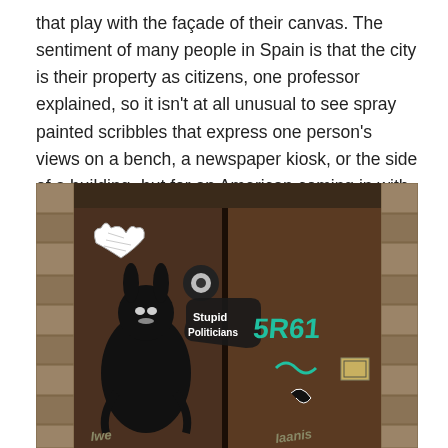that play with the façade of their canvas. The sentiment of many people in Spain is that the city is their property as citizens, one professor explained, so it isn't at all unusual to see spray painted scribbles that express one person's views on a bench, a newspaper kiosk, or the side of a building- but for an American coming in with a very different lens, I was a bit surprised at the abundance and normality of it all.
[Figure (photo): A photograph of graffiti on a old wooden door set in a stone wall. A black cartoon rabbit-like figure with a heart-shaped hat is painted on the left side of the door, with a speech bubble or sign reading 'Stupid Politicians'. Additional graffiti tags in teal/green and other colors appear on the right side of the door.]